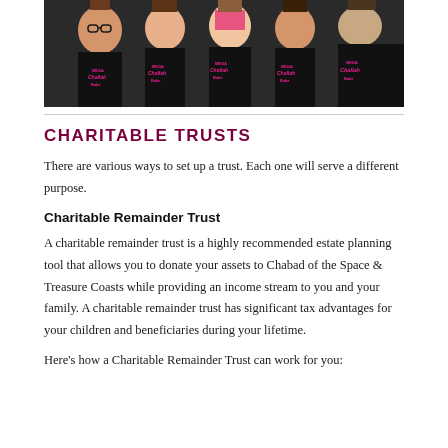[Figure (photo): Group photo of girls wearing black aprons with 'Mega Challah Bake' printed in pink text, smiling at the camera.]
CHARITABLE TRUSTS
There are various ways to set up a trust. Each one will serve a different purpose.
Charitable Remainder Trust
A charitable remainder trust is a highly recommended estate planning tool that allows you to donate your assets to Chabad of the Space & Treasure Coasts while providing an income stream to you and your family. A charitable remainder trust has significant tax advantages for your children and beneficiaries during your lifetime.
Here's how a Charitable Remainder Trust can work for you: